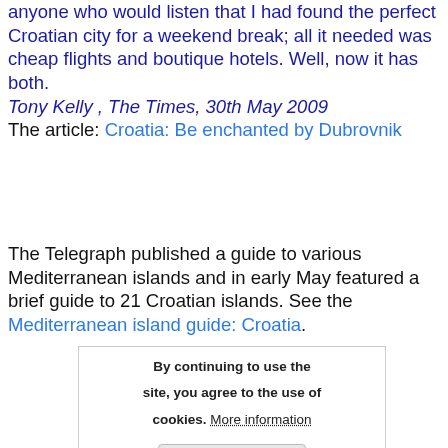anyone who would listen that I had found the perfect Croatian city for a weekend break; all it needed was cheap flights and boutique hotels. Well, now it has both. Tony Kelly , The Times, 30th May 2009 The article: Croatia: Be enchanted by Dubrovnik
The Telegraph published a guide to various Mediterranean islands and in early May featured a brief guide to 21 Croatian islands. See the Mediterranean island guide: Croatia.
By continuing to use the site, you agree to the use of cookies. More information Accept